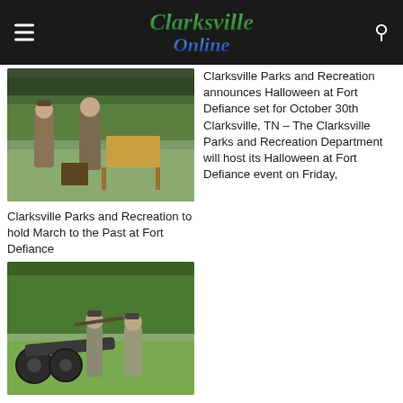Clarksville Online
[Figure (photo): Historical reenactors in period clothing standing near wooden furniture and equipment outdoors at Fort Defiance]
Clarksville Parks and Recreation to hold March to the Past at Fort Defiance
Clarksville Parks and Recreation announces Halloween at Fort Defiance set for October 30th Clarksville, TN – The Clarksville Parks and Recreation Department will host its Halloween at Fort Defiance event on Friday,
[Figure (photo): Civil War reenactors in Confederate uniforms firing a cannon in an open field at Fort Defiance]
Fort Defiance Civil War Park's March to the Past event took you back in History